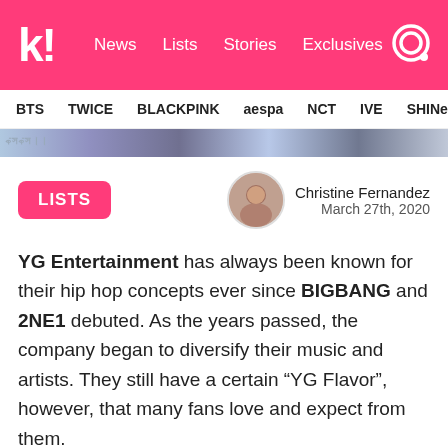k! News  Lists  Stories  Exclusives
BTS  TWICE  BLACKPINK  aespa  NCT  IVE  SHINe
[Figure (photo): Partial image strip showing K-pop related visuals]
LISTS
Christine Fernandez  March 27th, 2020
YG Entertainment has always been known for their hip hop concepts ever since BIGBANG and 2NE1 debuted. As the years passed, the company began to diversify their music and artists. They still have a certain “YG Flavor”, however, that many fans love and expect from them.
The following idols prove it!